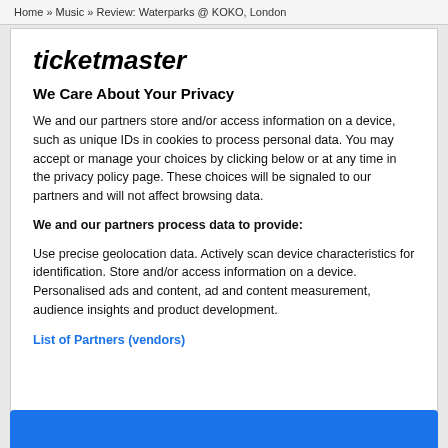Home » Music » Review: Waterparks @ KOKO, London
ticketmaster
We Care About Your Privacy
We and our partners store and/or access information on a device, such as unique IDs in cookies to process personal data. You may accept or manage your choices by clicking below or at any time in the privacy policy page. These choices will be signaled to our partners and will not affect browsing data.
We and our partners process data to provide:
Use precise geolocation data. Actively scan device characteristics for identification. Store and/or access information on a device. Personalised ads and content, ad and content measurement, audience insights and product development.
List of Partners (vendors)